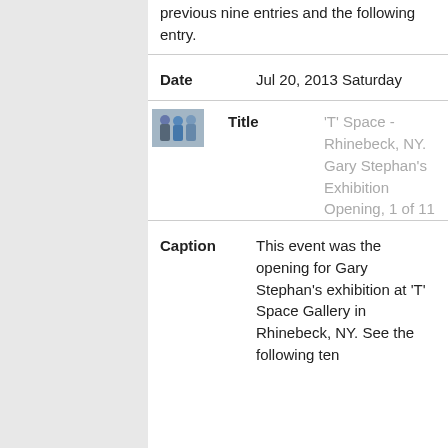previous nine entries and the following entry.
| Field | Value |
| --- | --- |
| Date | Jul 20, 2013 Saturday |
| Title | 'T' Space - Rhinebeck, NY. Gary Stephan's Exhibition Opening, 1 of 11 |
| Caption | This event was the opening for Gary Stephan's exhibition at 'T' Space Gallery in Rhinebeck, NY. See the following ten |